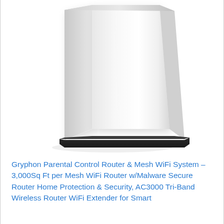[Figure (photo): A white Gryphon mesh WiFi router with a tall trapezoidal/obelisk shape, wider at the base and narrowing toward the top, with a dark black base. The device is white with smooth surfaces and a sleek modern design, photographed against a white background.]
Gryphon Parental Control Router & Mesh WiFi System – 3,000Sq Ft per Mesh WiFi Router w/Malware Secure Router Home Protection & Security, AC3000 Tri-Band Wireless Router WiFi Extender for Smart